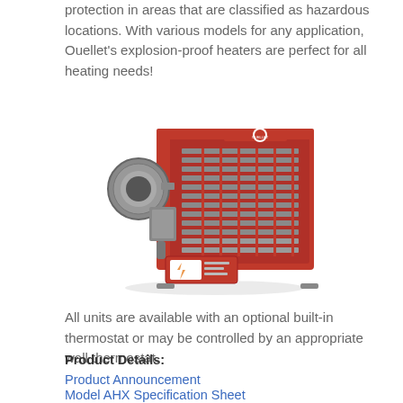protection in areas that are classified as hazardous locations. With various models for any application, Ouellet's explosion-proof heaters are perfect for all heating needs!
[Figure (photo): Red Ouellet explosion-proof industrial unit heater with fan motor on left side and finned heating elements on right, with a control box at the bottom and Ouellet logo on top.]
All units are available with an optional built-in thermostat or may be controlled by an appropriate wall thermostat.
Product Details:
Product Announcement
Model AHX Specification Sheet
Model OUX Specification Sheet